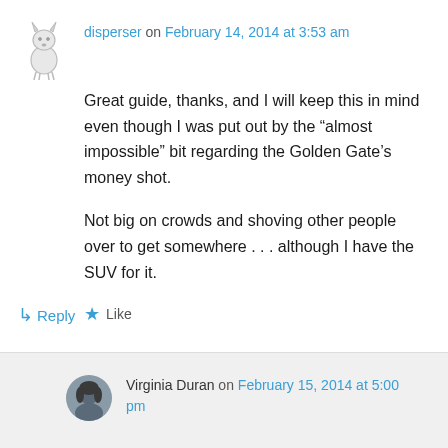[Figure (illustration): Small avatar image of a wolf or fox-like animal silhouette in light gray/sketch style]
disperser on February 14, 2014 at 3:53 am
Great guide, thanks, and I will keep this in mind even though I was put out by the “almost impossible” bit regarding the Golden Gate’s money shot.
Not big on crowds and shoving other people over to get somewhere . . . although I have the SUV for it.
★ Like
↳ Reply
[Figure (photo): Small circular avatar photo of Virginia Duran, a woman with dark hair]
Virginia Duran on February 15, 2014 at 5:00 pm